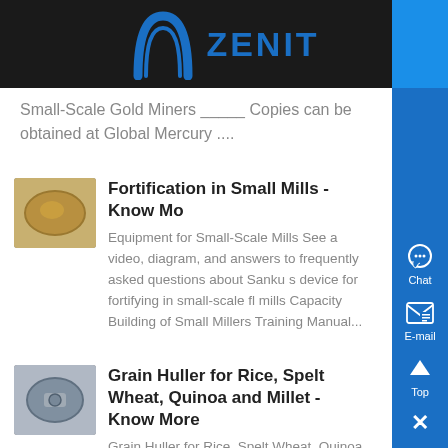ZENIT
Small-Scale Gold Miners _____ Copies can be obtained at Global Mercury ....
[Figure (photo): Small circular thumbnail image, brownish/golden object]
Fortification in Small Mills - Know Mo
Equipment for Small-Scale Mills See a video, diagram, and answers to frequently asked questions about Sanku s device for fortifying in small-scale fl mills Capacity Building of Small Millers Training Manual...
[Figure (photo): Small circular thumbnail image, metallic grain huller device]
Grain Huller for Rice, Spelt Wheat, Quinoa and Millet - Know More
Grain Huller for Rice, Spelt Wheat, Quinoa and Mi Allen Dong and Roger J Edberg, I-Tech, PO Box 4